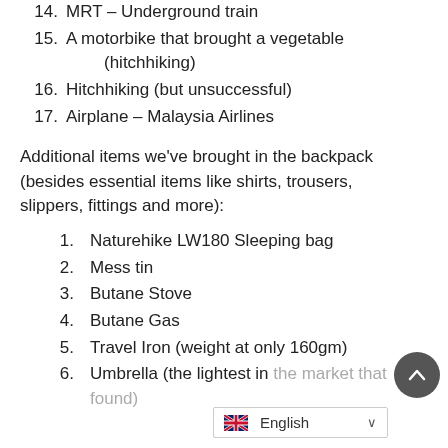14. MRT – Underground train
15. A motorbike that brought a vegetable (hitchhiking)
16. Hitchhiking (but unsuccessful)
17. Airplane – Malaysia Airlines
Additional items we've brought in the backpack (besides essential items like shirts, trousers, slippers, fittings and more):
1. Naturehike LW180 Sleeping bag
2. Mess tin
3. Butane Stove
4. Butane Gas
5. Travel Iron (weight at only 160gm)
6. Umbrella (the lightest in the market that found)